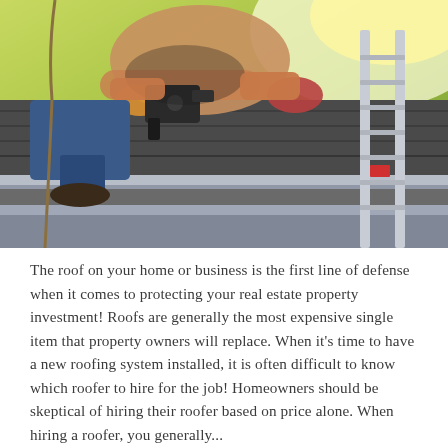[Figure (photo): A roofer crouching on a roof, using a nail gun to install roofing shingles. An aluminum ladder is visible on the right. Background shows blurred green foliage and bright sunlight.]
The roof on your home or business is the first line of defense when it comes to protecting your real estate property investment! Roofs are generally the most expensive single item that property owners will replace. When it's time to have a new roofing system installed, it is often difficult to know which roofer to hire for the job! Homeowners should be skeptical of hiring their roofer based on price alone. When hiring a roofer, you generally...